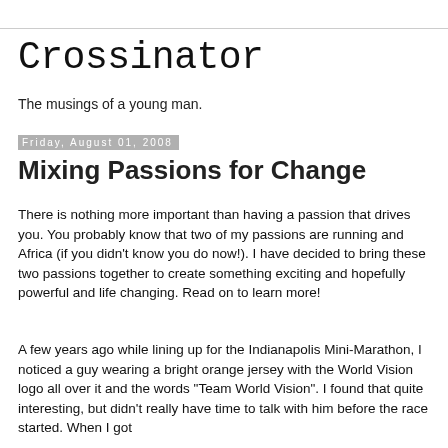Crossinator
The musings of a young man.
Friday, August 01, 2008
Mixing Passions for Change
There is nothing more important than having a passion that drives you. You probably know that two of my passions are running and Africa (if you didn't know you do now!). I have decided to bring these two passions together to create something exciting and hopefully powerful and life changing. Read on to learn more!
A few years ago while lining up for the Indianapolis Mini-Marathon, I noticed a guy wearing a bright orange jersey with the World Vision logo all over it and the words "Team World Vision". I found that quite interesting, but didn't really have time to talk with him before the race started. When I got